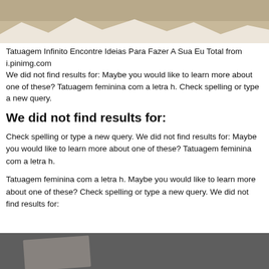[Figure (photo): Partial photo showing torn or draped white fabric/paper over a tan/beige background]
Tatuagem Infinito Encontre Ideias Para Fazer A Sua Eu Total from i.pinimg.com
We did not find results for: Maybe you would like to learn more about one of these? Tatuagem feminina com a letra h. Check spelling or type a new query.
We did not find results for:
Check spelling or type a new query. We did not find results for: Maybe you would like to learn more about one of these? Tatuagem feminina com a letra h.
Tatuagem feminina com a letra h. Maybe you would like to learn more about one of these? Check spelling or type a new query. We did not find results for:
[Figure (photo): Partial photo showing fabric or textile in dark grey tones with a lighter element]